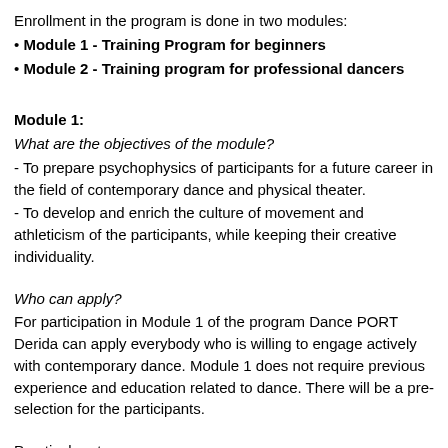Enrollment in the program is done in two modules:
• Module 1 - Training Program for beginners
• Module 2 - Training program for professional dancers
Module 1:
What are the objectives of the module?
- To prepare psychophysics of participants for a future career in the field of contemporary dance and physical theater.
- To develop and enrich the culture of movement and athleticism of the participants, while keeping their creative individuality.
Who can apply?
For participation in Module 1 of the program Dance PORT Derida can apply everybody who is willing to engage actively with contemporary dance. Module 1 does not require previous experience and education related to dance. There will be a pre-selection for the participants.
Practical part:
- Training: contemporary dance, classical ballet, yoga, pilates, stretching, etc.